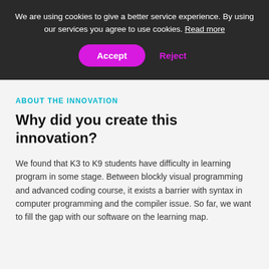We are using cookies to give a better service experience. By using our services you agree to use cookies. Read more
Accept
Reject
ABOUT THE INNOVATION
Why did you create this innovation?
We found that K3 to K9 students have difficulty in learning program in some stage. Between blockly visual programming and advanced coding course, it exists a barrier with syntax in computer programming and the compiler issue. So far, we want to fill the gap with our software on the learning map.